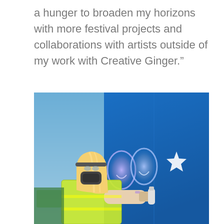a hunger to broaden my horizons with more festival projects and collaborations with artists outside of my work with Creative Ginger.”
[Figure (photo): A woman with long blonde hair wearing a high-visibility yellow vest and a respirator mask uses a spray can to paint on a large bright blue panel. The panel features circular/smiley face designs in white and light colours. The background shows a clear blue sky.]